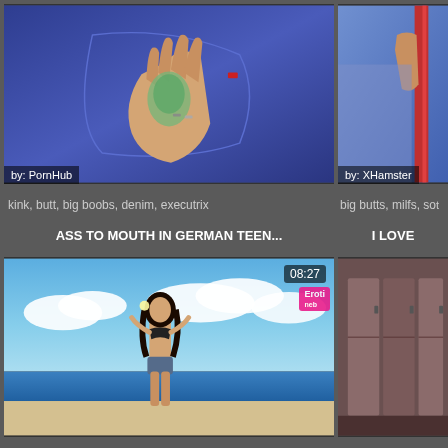[Figure (photo): Close-up of jeans-clad buttocks with tattooed hand placed on pocket, labeled by PornHub]
[Figure (photo): Partial view of jeans/skirt with red railing, labeled by XHamster]
by: PornHub
by: XHamster
kink, butt, big boobs, denim, executrix
big butts, milfs, so...
ASS TO MOUTH IN GERMAN TEEN...
I LOVE
[Figure (photo): Woman in black bikini top and denim shorts standing on beach with blue sky, duration 08:27]
[Figure (photo): Interior room with brown/wooden lockers or cabinets]